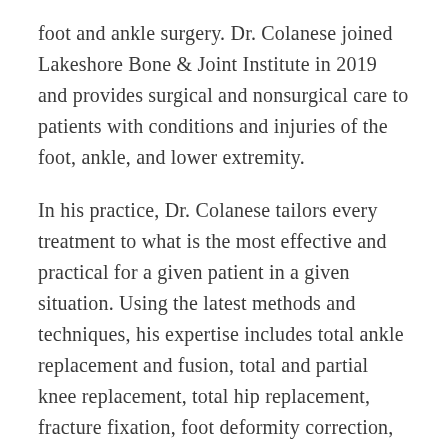foot and ankle surgery. Dr. Colanese joined Lakeshore Bone & Joint Institute in 2019 and provides surgical and nonsurgical care to patients with conditions and injuries of the foot, ankle, and lower extremity.
In his practice, Dr. Colanese tailors every treatment to what is the most effective and practical for a given patient in a given situation. Using the latest methods and techniques, his expertise includes total ankle replacement and fusion, total and partial knee replacement, total hip replacement, fracture fixation, foot deformity correction, tendon and ligament reconstruction, and other musculoskeletal conditions.